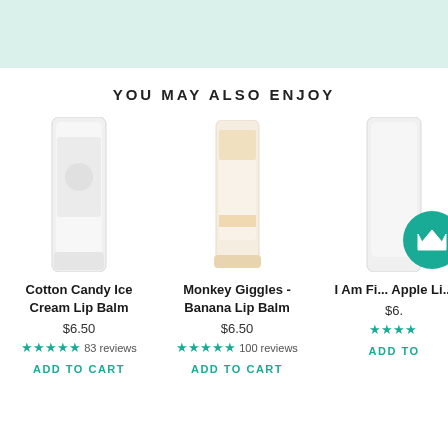YOU MAY ALSO ENJOY
[Figure (photo): Product image of Cotton Candy Ice Cream Lip Balm - white lip balm tube]
Cotton Candy Ice Cream Lip Balm
$6.50
★★★★★ 83 reviews
ADD TO CART
[Figure (photo): Product image of Monkey Giggles - Banana Lip Balm - peach/tan lip balm tube]
Monkey Giggles - Banana Lip Balm
$6.50
★★★★★ 100 reviews
ADD TO CART
[Figure (photo): Partial product image of I Am Fi... Apple Li... lip balm, partially cropped]
I Am Fi... Apple Li...
$6.
ADD TO